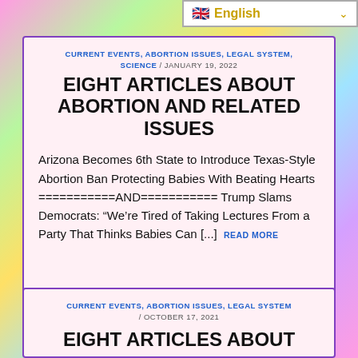[Figure (screenshot): Language selector bar showing UK flag and 'English' with dropdown arrow]
CURRENT EVENTS, ABORTION ISSUES, LEGAL SYSTEM, SCIENCE / JANUARY 19, 2022
EIGHT ARTICLES ABOUT ABORTION AND RELATED ISSUES
Arizona Becomes 6th State to Introduce Texas-Style Abortion Ban Protecting Babies With Beating Hearts ===========AND=========== Trump Slams Democrats: “We’re Tired of Taking Lectures From a Party That Thinks Babies Can [...] READ MORE
CURRENT EVENTS, ABORTION ISSUES, LEGAL SYSTEM / OCTOBER 17, 2021
EIGHT ARTICLES ABOUT